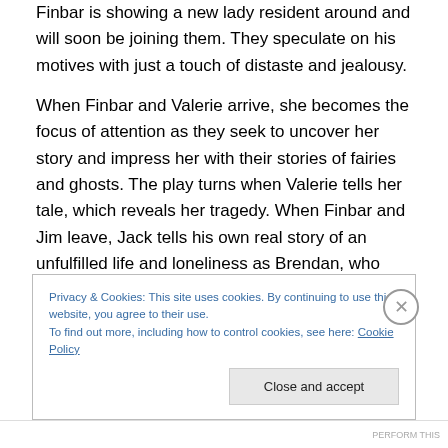Finbar is showing a new lady resident around and will soon be joining them. They speculate on his motives with just a touch of distaste and jealousy.
When Finbar and Valerie arrive, she becomes the focus of attention as they seek to uncover her story and impress her with their stories of fairies and ghosts. The play turns when Valerie tells her tale, which reveals her tragedy. When Finbar and Jim leave, Jack tells his own real story of an unfulfilled life and loneliness as Brendan, who seems to be heading for the same fate, looks on.
Privacy & Cookies: This site uses cookies. By continuing to use this website, you agree to their use. To find out more, including how to control cookies, see here: Cookie Policy